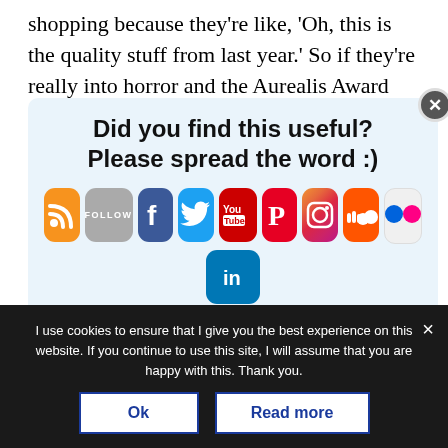shopping because they're like, 'Oh, this is the quality stuff from last year.' So if they're really into horror and the Aurealis Award shortlist is
[Figure (infographic): Social sharing prompt popup with text 'Did you find this useful? Please spread the word :)' and social media icons for RSS, Follow, Facebook, Twitter, YouTube, Pinterest, Instagram, SoundCloud, Flickr, LinkedIn. Has an X close button.]
Joanna: Oh, totally. I shop from the Bram Stoker
I use cookies to ensure that I give you the best experience on this website. If you continue to use this site, I will assume that you are happy with this. Thank you.
Ok
Read more